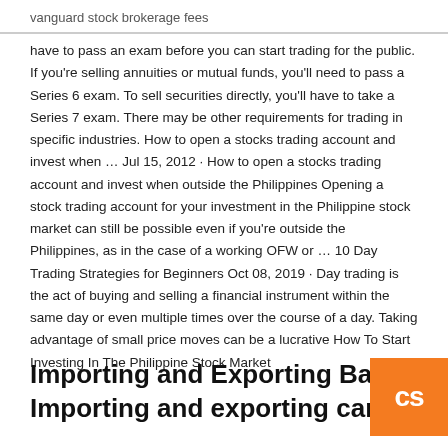vanguard stock brokerage fees
have to pass an exam before you can start trading for the public. If you're selling annuities or mutual funds, you'll need to pass a Series 6 exam. To sell securities directly, you'll have to take a Series 7 exam. There may be other requirements for trading in specific industries. How to open a stocks trading account and invest when … Jul 15, 2012 · How to open a stocks trading account and invest when outside the Philippines Opening a stock trading account for your investment in the Philippine stock market can still be possible even if you're outside the Philippines, as in the case of a working OFW or … 10 Day Trading Strategies for Beginners Oct 08, 2019 · Day trading is the act of buying and selling a financial instrument within the same day or even multiple times over the course of a day. Taking advantage of small price moves can be a lucrative How To Start Investing In The Philippine Stock Market
Importing and Exporting Basics
Importing and exporting can